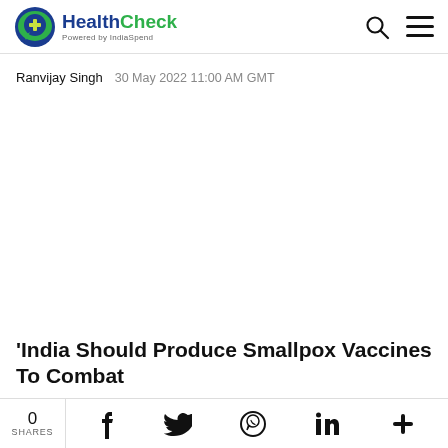HealthCheck Powered by IndiaSpend
Ranvijay Singh   30 May 2022 11:00 AM GMT
[Figure (photo): Large image placeholder area (white/blank) occupying the middle of the article page]
'India Should Produce Smallpox Vaccines To Combat
0 SHARES  [Facebook] [Twitter] [WhatsApp] [LinkedIn] [More]